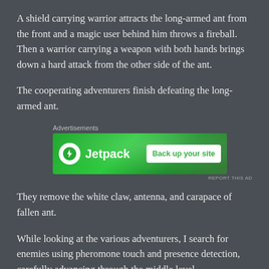A shield carrying warrior attracts the long-armed ant from the front and a magic user behind him throws a fireball. Then a warrior carrying a weapon with both hands brings down a hard attack from the other side of the ant.
The cooperating adventurers finish defeating the long-armed ant.
[Figure (other): Jetpack advertisement banner with green background showing Jetpack logo and 'Back up your site' button]
They remove the white claw, antenna, and carapace of fallen ant.
While looking at the various adventurers, I search for enemies using pheromone touch and presence detection, carefully advancing through the middle level.
As I advance through a passage of twisted black thorns, again I